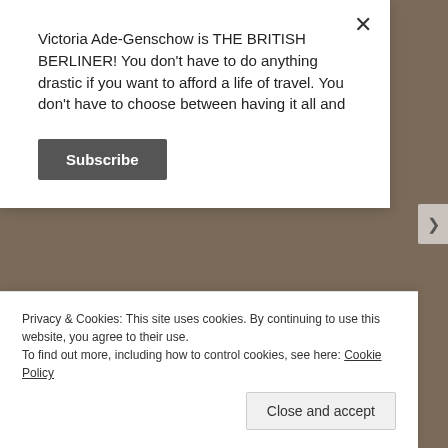Victoria Ade-Genschow is THE BRITISH BERLINER! You don't have to do anything drastic if you want to afford a life of travel. You don't have to choose between having it all and
Subscribe
[Figure (screenshot): Yellow banner with text 'A 9-Euro-Ticket to Görlitz!' and a blue bar above it]
Privacy & Cookies: This site uses cookies. By continuing to use this website, you agree to their use.
To find out more, including how to control cookies, see here: Cookie Policy
Close and accept